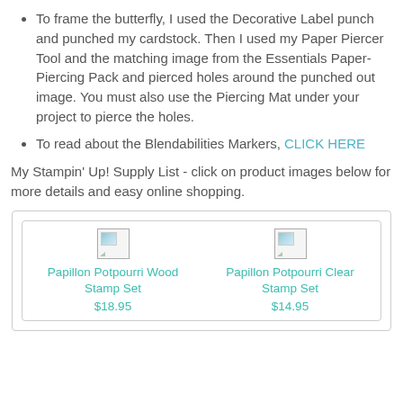To frame the butterfly, I used the Decorative Label punch and punched my cardstock. Then I used my Paper Piercer Tool and the matching image from the Essentials Paper-Piercing Pack and pierced holes around the punched out image. You must also use the Piercing Mat under your project to pierce the holes.
To read about the Blendabilities Markers, CLICK HERE
My Stampin' Up! Supply List - click on product images below for more details and easy online shopping.
[Figure (other): Product listing box containing two stamp set products: Papillon Potpourri Wood Stamp Set $18.95 and Papillon Potpourri Clear Stamp Set $14.95, each with a broken image placeholder icon.]